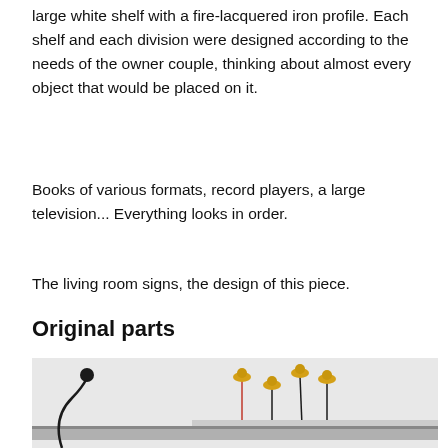large white shelf with a fire-lacquered iron profile. Each shelf and each division were designed according to the needs of the owner couple, thinking about almost every object that would be placed on it.
Books of various formats, record players, a large television... Everything looks in order.
The living room signs, the design of this piece.
Original parts
[Figure (photo): Interior photo showing a shelf or furniture piece with lamp-like decorative elements on thin stems (mushroom-shaped tops in gold/yellow) against a light gray wall, with what appears to be a horizontal shelf or rail in the lower portion.]